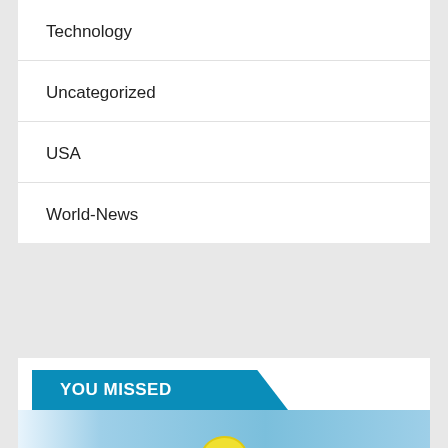Technology
Uncategorized
USA
World-News
YOU MISSED
[Figure (photo): Partial photo showing a pool or water scene with a yellow 'iHola!' sign visible]